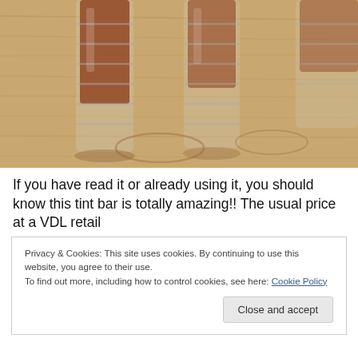[Figure (photo): Photo of shot glasses on a wooden surface, viewed from above. The glasses appear to contain a reddish-brown liquid.]
If you have read it or already using it, you should know this tint bar is totally amazing!! The usual price at a VDL retail
Privacy & Cookies: This site uses cookies. By continuing to use this website, you agree to their use.
To find out more, including how to control cookies, see here: Cookie Policy
Close and accept